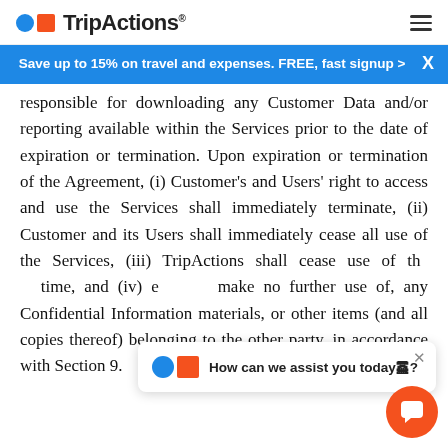TripActions
Save up to 15% on travel and expenses. FREE, fast signup >
responsible for downloading any Customer Data and/or reporting available within the Services prior to the date of expiration or termination. Upon expiration or termination of the Agreement, (i) Customer's and Users' right to access and use the Services shall immediately terminate, (ii) Customer and its Users shall immediately cease all use of the Services, (iii) TripActions shall cease use of the [data], [at that] time, and (iv) each [party shall] make no further use of, any Confidential Information materials, or other items (and all copies thereof) belonging to the other party, in accordance with Section 9.